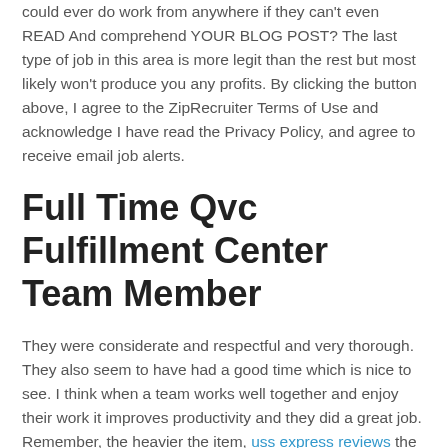could ever do work from anywhere if they can't even READ And comprehend YOUR BLOG POST? The last type of job in this area is more legit than the rest but most likely won't produce you any profits. By clicking the button above, I agree to the ZipRecruiter Terms of Use and acknowledge I have read the Privacy Policy, and agree to receive email job alerts.
Full Time Qvc Fulfillment Center Team Member
They were considerate and respectful and very thorough. They also seem to have had a good time which is nice to see. I think when a team works well together and enjoy their work it improves productivity and they did a great job. Remember, the heavier the item, uss express reviews the smaller the box.Only use small boxes for books. Larger boxes of heavy items are more likely to split open during the move. We created this blog to share some of the knowledge and experience that we have around travel, remote work